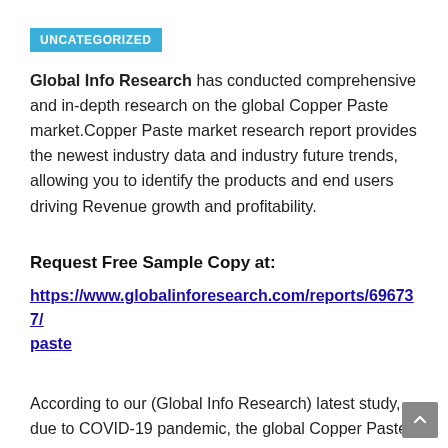UNCATEGORIZED
Global Info Research has conducted comprehensive and in-depth research on the global Copper Paste market.Copper Paste market research report provides the newest industry data and industry future trends, allowing you to identify the products and end users driving Revenue growth and profitability.
Request Free Sample Copy at:
https://www.globalinforesearch.com/reports/696737/paste
According to our (Global Info Research) latest study, due to COVID-19 pandemic, the global Copper Paste